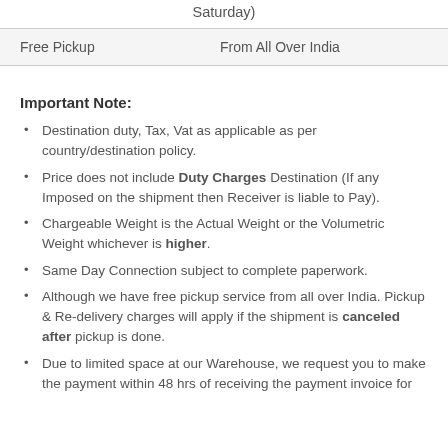Saturday)
| Free Pickup | From All Over India |
Important Note:
Destination duty, Tax, Vat as applicable as per country/destination policy.
Price does not include Duty Charges Destination (If any Imposed on the shipment then Receiver is liable to Pay).
Chargeable Weight is the Actual Weight or the Volumetric Weight whichever is higher.
Same Day Connection subject to complete paperwork.
Although we have free pickup service from all over India. Pickup & Re-delivery charges will apply if the shipment is canceled after pickup is done.
Due to limited space at our Warehouse, we request you to make the payment within 48 hrs of receiving the payment invoice for